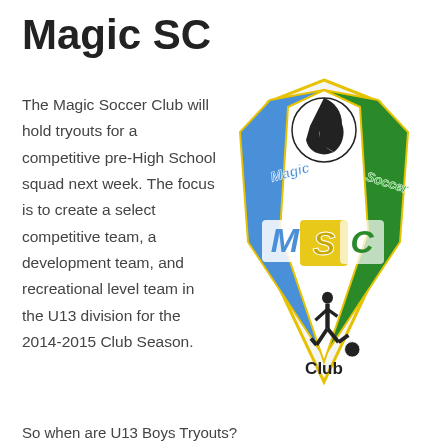Magic SC
The Magic Soccer Club will hold tryouts for a competitive pre-High School squad next week. The focus is to create a select competitive team, a development team, and recreational level team in the U13 division for the 2014-2015 Club Season.
[Figure (logo): Magic Soccer Club logo showing three pointed shields in blue, yellow/white, and green with letters M, S, C, a soccer ball, and a soccer player silhouette, with text 'Magic', 'Soccer', and 'Club'.]
So when are U13 Boys Tryouts?